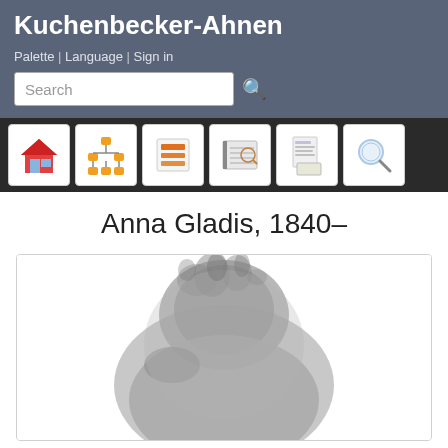Kuchenbecker-Ahnen
Palette | Language | Sign in
Anna Gladis, 1840–
[Figure (photo): Blurred silhouette placeholder image of a person, shown in gray tones against a white background inside a bordered container.]